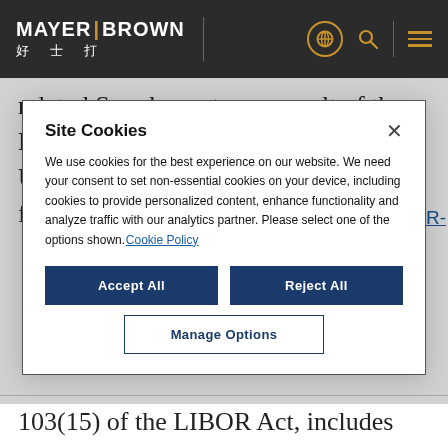MAYER | BROWN 好士打
related Supplement, as a result of the March 5, 2021, announcement by the UK Financial Conduct Authority of the future cessation and
Site Cookies
We use cookies for the best experience on our website. We need your consent to set non-essential cookies on your device, including cookies to provide personalized content, enhance functionality and analyze traffic with our analytics partner. Please select one of the options shown. Cookie Policy
103(15) of the LIBOR Act, includes US dollar